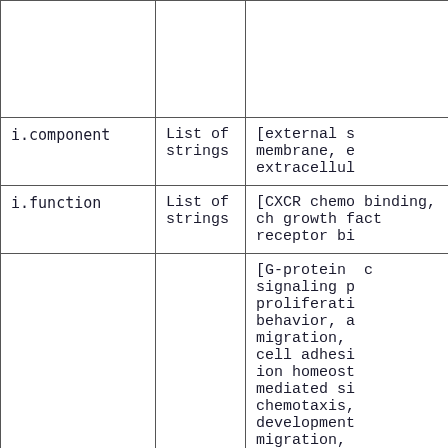| Field | Type | Example/Values |
| --- | --- | --- |
|  |  |  |
| i.component | List of strings | [external s membrane, e extracellul |
| i.function | List of strings | [CXCR chemo binding, ch growth fact receptor bi |
|  |  | [G-protein  signaling p proliferati behavior, a migration,  cell adhesi ion homeost mediated si chemotaxis,  development migration,  induction o |